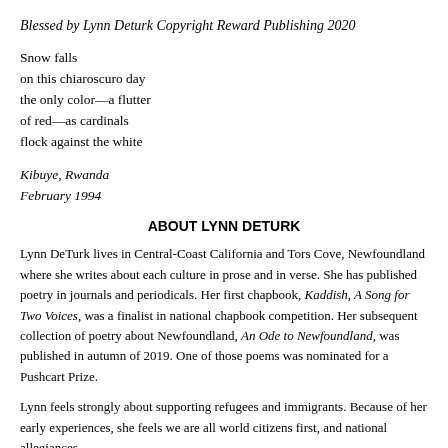Blessed by Lynn Deturk Copyright Reward Publishing 2020
Snow falls
on this chiaroscuro day
the only color—a flutter
of red—as cardinals
flock against the white
Kibuye, Rwanda
February 1994
ABOUT LYNN DETURK
Lynn DeTurk lives in Central-Coast California and Tors Cove, Newfoundland where she writes about each culture in prose and in verse. She has published poetry in journals and periodicals. Her first chapbook, Kaddish, A Song for Two Voices, was a finalist in national chapbook competition. Her subsequent collection of poetry about Newfoundland, An Ode to Newfoundland, was published in autumn of 2019. One of those poems was nominated for a Pushcart Prize.
Lynn feels strongly about supporting refugees and immigrants. Because of her early experiences, she feels we are all world citizens first, and national allegiances